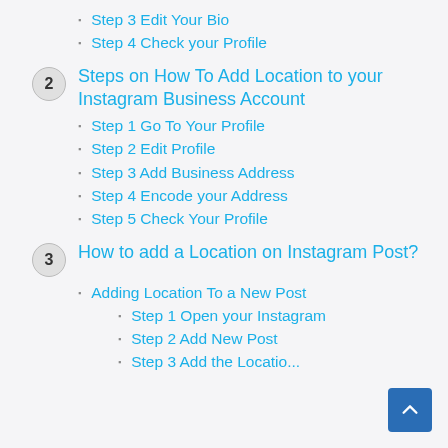Step 3 Edit Your Bio
Step 4 Check your Profile
2 Steps on How To Add Location to your Instagram Business Account
Step 1 Go To Your Profile
Step 2 Edit Profile
Step 3 Add Business Address
Step 4 Encode your Address
Step 5 Check Your Profile
3 How to add a Location on Instagram Post?
Adding Location To a New Post
Step 1 Open your Instagram
Step 2 Add New Post
Step 3 Add the Location...